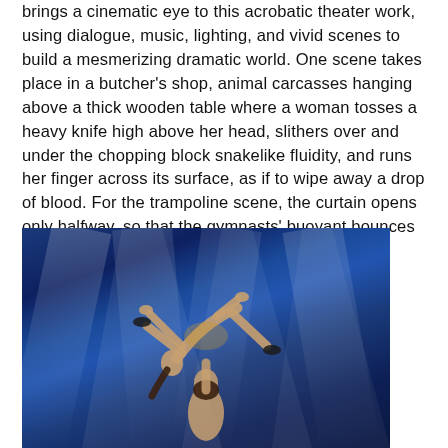brings a cinematic eye to this acrobatic theater work, using dialogue, music, lighting, and vivid scenes to build a mesmerizing dramatic world. One scene takes place in a butcher's shop, animal carcasses hanging above a thick wooden table where a woman tosses a heavy knife high above her head, slithers over and under the chopping block snakelike fluidity, and runs her finger across its surface, as if to wipe away a drop of blood. For the trampoline scene, the curtain opens only halfway, so that the gymnasts' buoyant bounces are captured in a panoramic strip of light.
[Figure (photo): Two acrobats on a dark blue stage with dramatic light rays. One performer lifts the other high in the air; the top performer is arched dramatically with arms and legs extended in opposite directions, wearing a gold/nude costume, hair flying. The background is deep blue with angled white light beams.]